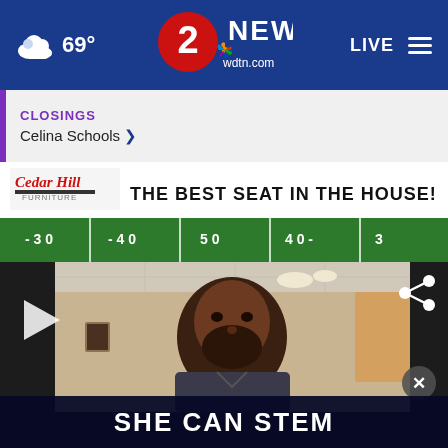69° | 2 NEWS wdtn.com | LIVE
CLOSINGS
Celina Schools >
[Figure (photo): Cedar Hill Furniture advertisement banner reading THE BEST SEAT IN THE HOUSE! with football field yard lines below]
[Figure (screenshot): Video player showing a man with a beard on a video call, with a play button, share icon, close button, and SHE CAN STEM overlay banner at the bottom]